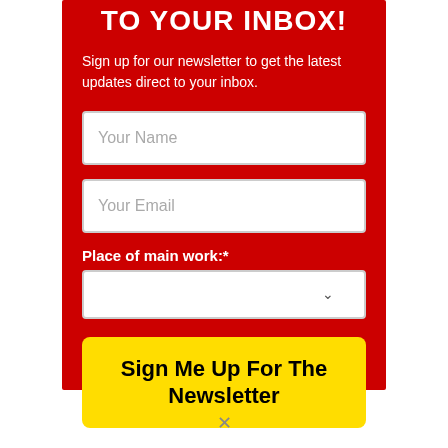TO YOUR INBOX!
Sign up for our newsletter to get the latest updates direct to your inbox.
Your Name
Your Email
Place of main work:*
Sign Me Up For The Newsletter